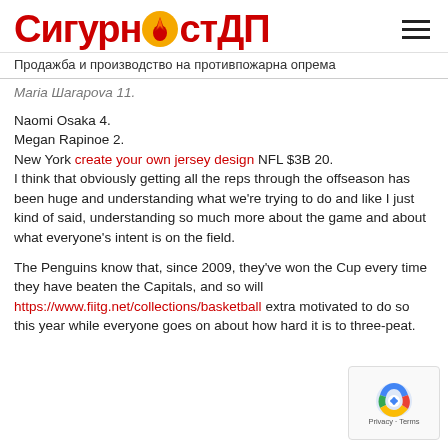СигурностДП — Продажба и производство на противпожарна опрема
Мaria Шarapova 11.
Naomi Osaka 4.
Megan Rapinoe 2.
New York create your own jersey design NFL $3B 20.
I think that obviously getting all the reps through the offseason has been huge and understanding what we're trying to do and like I just kind of said, understanding so much more about the game and about what everyone's intent is on the field.
The Penguins know that, since 2009, they've won the Cup every time they have beaten the Capitals, and so will https://www.fiitg.net/collections/basketball extra motivated to do so this year while everyone goes on about how hard it is to three-peat.
[Figure (other): reCAPTCHA badge with Privacy and Terms links]